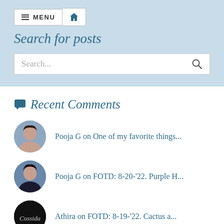MENU [home icon]
Search for posts
Search...
Recent Comments
Pooja G on One of my favorite things...
Pooja G on FOTD: 8-20-'22. Purple H...
Athira on FOTD: 8-19-'22. Cactus a...